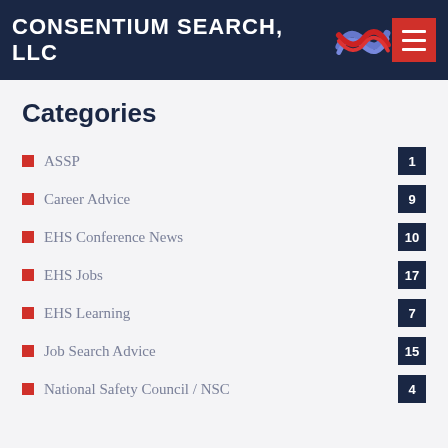CONSENTIUM SEARCH, LLC
Categories
ASSP  1
Career Advice  9
EHS Conference News  10
EHS Jobs  17
EHS Learning  7
Job Search Advice  15
National Safety Council / NSC  4